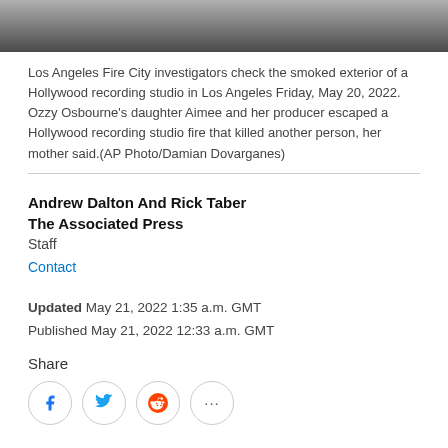[Figure (photo): Photo strip at top of page showing partial view of building exterior — smoked exterior of a Hollywood recording studio]
Los Angeles Fire City investigators check the smoked exterior of a Hollywood recording studio in Los Angeles Friday, May 20, 2022. Ozzy Osbourne's daughter Aimee and her producer escaped a Hollywood recording studio fire that killed another person, her mother said.(AP Photo/Damian Dovarganes)
Andrew Dalton And Rick Taber
The Associated Press
Staff
Contact
Updated May 21, 2022 1:35 a.m. GMT
Published May 21, 2022 12:33 a.m. GMT
Share